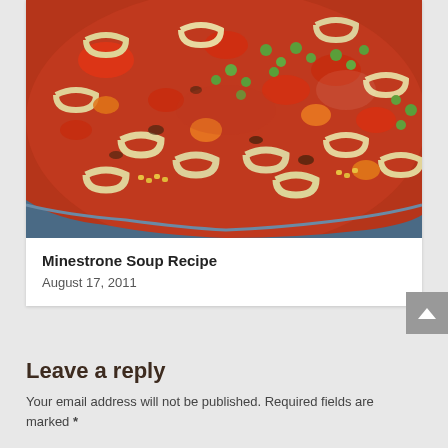[Figure (photo): Close-up photo of minestrone soup in a pot, showing macaroni pasta, peas, carrots, tomatoes, corn, and other vegetables in a red tomato broth]
Minestrone Soup Recipe
August 17, 2011
Leave a reply
Your email address will not be published. Required fields are marked *